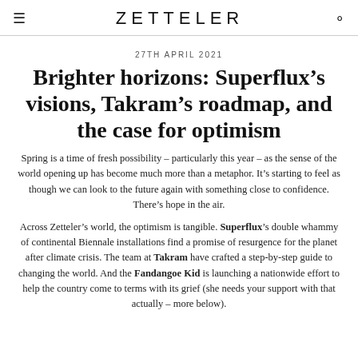ZETTELER
27TH APRIL 2021
Brighter horizons: Superflux’s visions, Takram’s roadmap, and the case for optimism
Spring is a time of fresh possibility – particularly this year – as the sense of the world opening up has become much more than a metaphor. It’s starting to feel as though we can look to the future again with something close to confidence. There’s hope in the air.
Across Zetteler’s world, the optimism is tangible. Superflux’s double whammy of continental Biennale installations find a promise of resurgence for the planet after climate crisis. The team at Takram have crafted a step-by-step guide to changing the world. And the Fandangoe Kid is launching a nationwide effort to help the country come to terms with its grief (she needs your support with that actually – more below).